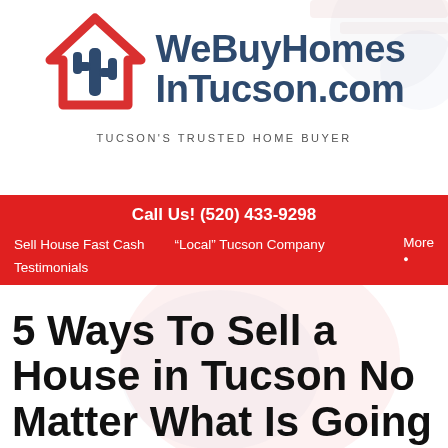[Figure (logo): WeBuyHomesInTucson.com logo with house/cactus icon and tagline TUCSON'S TRUSTED HOME BUYER]
Call Us! (520) 433-9298
Sell House Fast Cash
“Local” Tucson Company
More
Testimonials
5 Ways To Sell a House in Tucson No Matter What Is Going On In The World